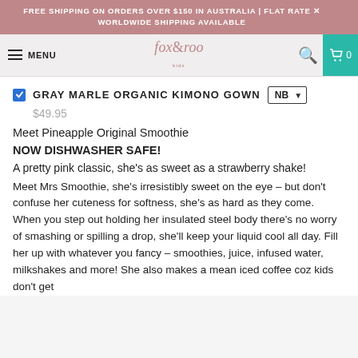FREE SHIPPING ON ORDERS OVER $150 IN AUSTRALIA | FLAT RATE X WORLDWIDE SHIPPING AVAILABLE
MENU  fox&roo kids  🔍  🛒 0
GRAY MARLE ORGANIC KIMONO GOWN  NB
$49.95
Meet Pineapple Original Smoothie
NOW DISHWASHER SAFE!
A pretty pink classic, she's as sweet as a strawberry shake!
Meet Mrs Smoothie, she's irresistibly sweet on the eye – but don't confuse her cuteness for softness, she's as hard as they come. When you step out holding her insulated steel body there's no worry of smashing or spilling a drop, she'll keep your liquid cool all day. Fill her up with whatever you fancy – smoothies, juice, infused water, milkshakes and more! She also makes a mean iced coffee coz kids don't get